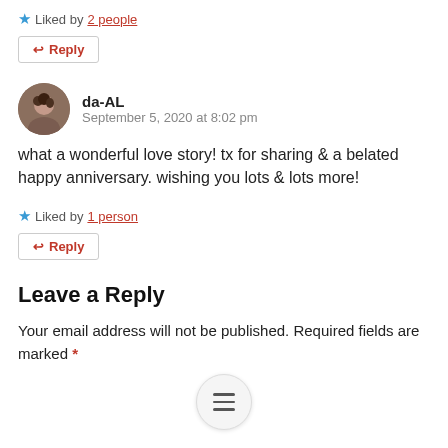★ Liked by 2 people
↩ Reply
da-AL
September 5, 2020 at 8:02 pm
what a wonderful love story! tx for sharing & a belated happy anniversary. wishing you lots & lots more!
★ Liked by 1 person
↩ Reply
Leave a Reply
Your email address will not be published. Required fields are marked *